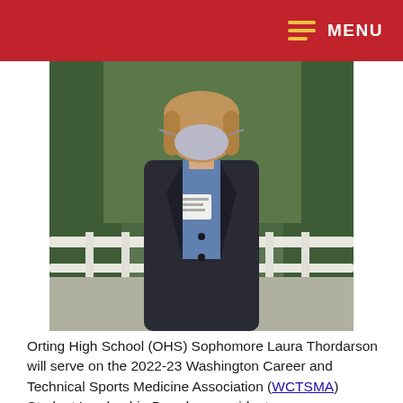MENU
[Figure (photo): A young woman wearing a gray face mask and dark blazer with a name tag, standing in front of white railings and green foliage background.]
Orting High School (OHS) Sophomore Laura Thordarson will serve on the 2022-23 Washington Career and Technical Sports Medicine Association (WCTSMA) Student Leadership Board as president...